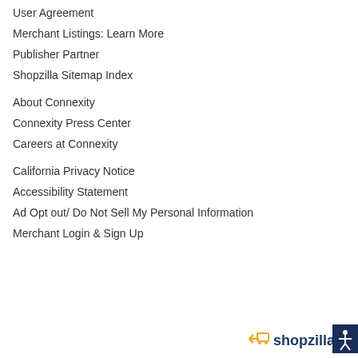User Agreement
Merchant Listings: Learn More
Publisher Partner
Shopzilla Sitemap Index
About Connexity
Connexity Press Center
Careers at Connexity
California Privacy Notice
Accessibility Statement
Ad Opt out/ Do Not Sell My Personal Information
Merchant Login & Sign Up
[Figure (logo): Shopzilla logo with shopping cart icon and accessibility icon on dark background]